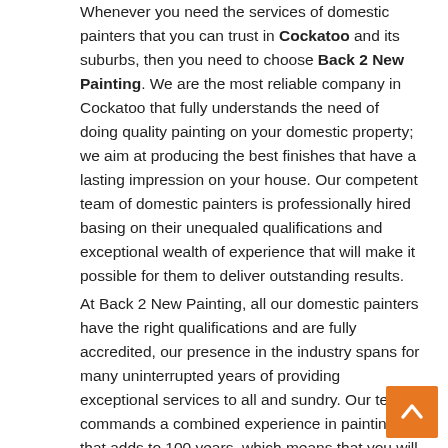Whenever you need the services of domestic painters that you can trust in Cockatoo and its suburbs, then you need to choose Back 2 New Painting. We are the most reliable company in Cockatoo that fully understands the need of doing quality painting on your domestic property; we aim at producing the best finishes that have a lasting impression on your house. Our competent team of domestic painters is professionally hired basing on their unequaled qualifications and exceptional wealth of experience that will make it possible for them to deliver outstanding results.
At Back 2 New Painting, all our domestic painters have the right qualifications and are fully accredited, our presence in the industry spans for many uninterrupted years of providing exceptional services to all and sundry. Our team commands a combined experience in painting that adds to 100 years, which means that you will be able to enjoy a peace of mind while you are rest assured that all the painting in the home is being handled by the best experts. All our experienced painters will tackle all the domestic painting work with professionalism aimed at ensuring that you get the finest quality finish, which you need at all times.